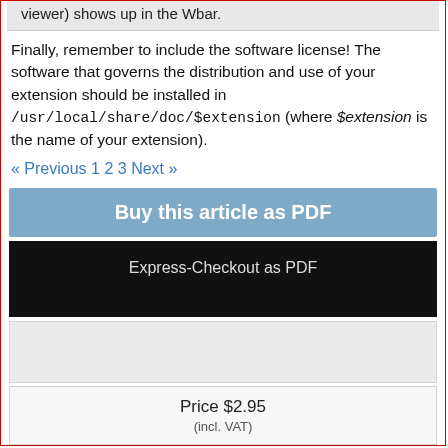viewer) shows up in the Wbar.
Finally, remember to include the software license! The software that governs the distribution and use of your extension should be installed in /usr/local/share/doc/$extension (where $extension is the name of your extension).
« Previous 1 2 3 Next »
Buy this article as PDF
Express-Checkout as PDF
Price $2.95
(incl. VAT)
[Figure (other): PayPal Check out button]